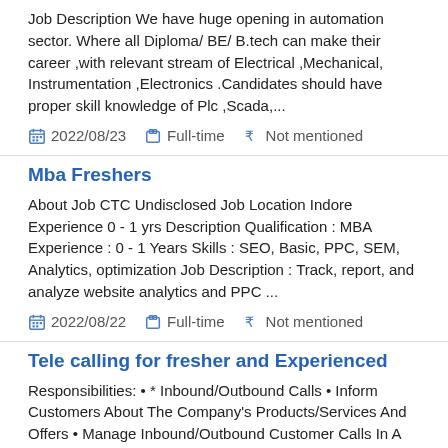Job Description We have huge opening in automation sector. Where all Diploma/ BE/ B.tech can make their career ,with relevant stream of Electrical ,Mechanical, Instrumentation ,Electronics .Candidates should have proper skill knowledge of Plc ,Scada,...
2022/08/23   Full-time   Not mentioned
Mba Freshers
About Job CTC Undisclosed Job Location Indore Experience 0 - 1 yrs Description Qualification : MBA Experience : 0 - 1 Years Skills : SEO, Basic, PPC, SEM, Analytics, optimization Job Description : Track, report, and analyze website analytics and PPC ...
2022/08/22   Full-time   Not mentioned
Tele calling for fresher and Experienced
Responsibilities: • * Inbound/Outbound Calls • Inform Customers About The Company's Products/Services And Offers • Manage Inbound/Outbound Customer Calls In A Timely Manner • Generate Leads That Develop Into New Customers Identify Customer's Needs A...